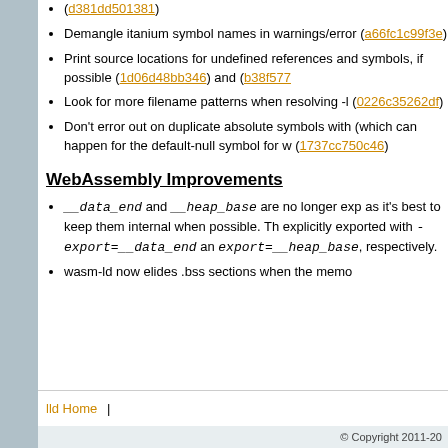(d381dd501381)
Demangle itanium symbol names in warnings/errors (a66fc1c99f3e)
Print source locations for undefined references and symbols, if possible (1d06d48bb346) and (b38f577...)
Look for more filename patterns when resolving -l... (0226c35262df)
Don't error out on duplicate absolute symbols with ... (which can happen for the default-null symbol for w...) (1737cc750c46)
WebAssembly Improvements
__data_end and __heap_base are no longer exported by default, as it's best to keep them internal when possible. They can be explicitly exported with -export=__data_end and -export=__heap_base, respectively.
wasm-ld now elides .bss sections when the memo...
lld Home | © Copyright 2011-20...